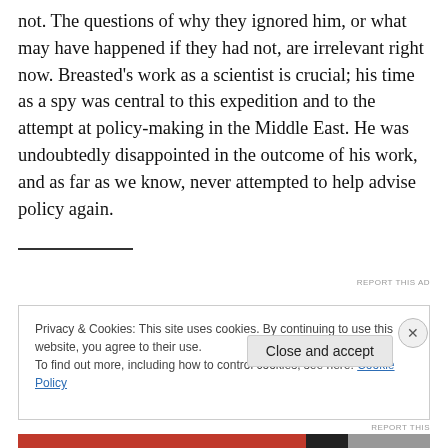not. The questions of why they ignored him, or what may have happened if they had not, are irrelevant right now. Breasted's work as a scientist is crucial; his time as a spy was central to this expedition and to the attempt at policy-making in the Middle East. He was undoubtedly disappointed in the outcome of his work, and as far as we know, never attempted to help advise policy again.
Privacy & Cookies: This site uses cookies. By continuing to use this website, you agree to their use. To find out more, including how to control cookies, see here: Cookie Policy